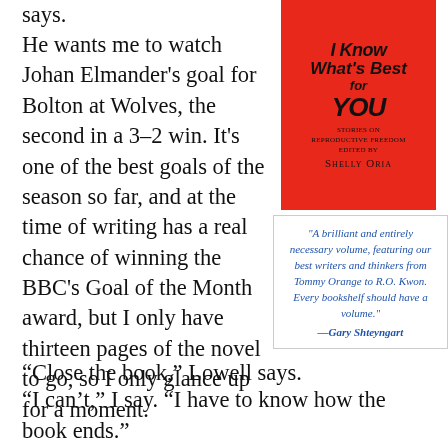says.
[Figure (illustration): Book cover for 'I Know What's Best for You: Stories on Reproductive Freedom' edited by Shelly Oria, with a red background and black handwritten-style lettering.]
"A brilliant and entirely necessary volume, featuring our best writers and thinkers from Tommy Orange to R.O. Kwon. Every bookshelf should have a volume." —Gary Shteyngart
He wants me to watch Johan Elmander's goal for Bolton at Wolves, the second in a 3–2 win. It's one of the best goals of the season so far, and at the time of writing has a real chance of winning the BBC's Goal of the Month award, but I only have thirteen pages of the novel to go, so I only glance up for a moment.
“Close the book,” Lowell says.
“I can’t,” I say. “I have to know how the book ends.”